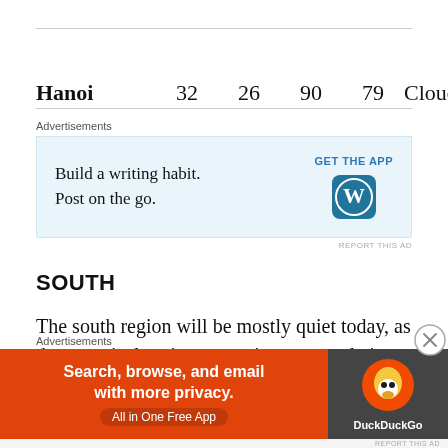| City | High | Low | High | Low | Condition |
| --- | --- | --- | --- | --- | --- |
| Hanoi | 32 | 26 | 90 | 79 | Cloudy |
[Figure (screenshot): WordPress advertisement: 'Build a writing habit. Post on the go.' with GET THE APP button and WordPress logo on light blue background]
SOUTH
The south region will be mostly quiet today, as deep tropical moisture continues to settle in over the region and pockets of it gets heated up quite nicely and lifted up to
[Figure (screenshot): DuckDuckGo advertisement: 'Search, browse, and email with more privacy. All in One Free App' on orange background with DuckDuckGo logo on dark background]